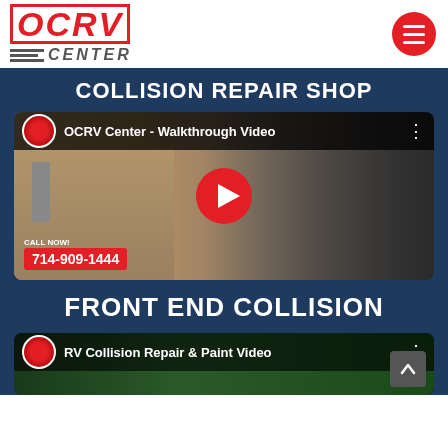[Figure (logo): OCRV Center logo with red text and gray center text]
COLLISION REPAIR SHOP
[Figure (screenshot): YouTube video thumbnail: OCRV Center - Walkthrough Video, showing a man standing in front of an RV with a red play button overlay and phone number 714-909-1444]
FRONT END COLLISION
[Figure (screenshot): YouTube video thumbnail: RV Collision Repair & Paint Video, showing interior/exterior view]